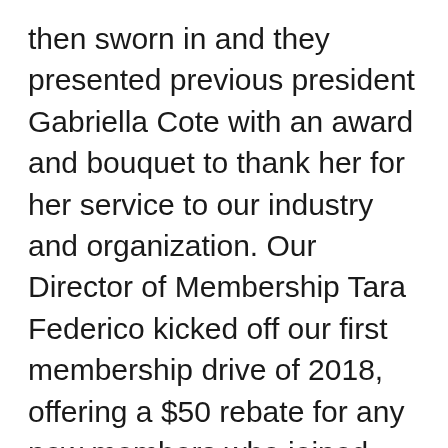then sworn in and they presented previous president Gabriella Cote with an award and bouquet to thank her for her service to our industry and organization. Our Director of Membership Tara Federico kicked off our first membership drive of 2018, offering a $50 rebate for any new members who joined Feb. 1-7. Board President Rebecca Stebbins also presented awards to notable members: